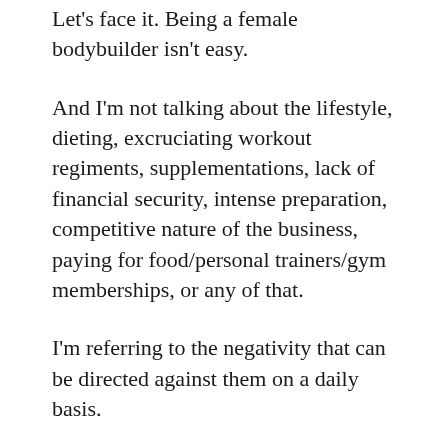Let's face it. Being a female bodybuilder isn't easy.
And I'm not talking about the lifestyle, dieting, excruciating workout regiments, supplementations, lack of financial security, intense preparation, competitive nature of the business, paying for food/personal trainers/gym memberships, or any of that.
I'm referring to the negativity that can be directed against them on a daily basis.
I'm not a female bodybuilder, of course. But from what I've read in online comment sections, chat forums and Facebook conversation threads, nastiness targeted